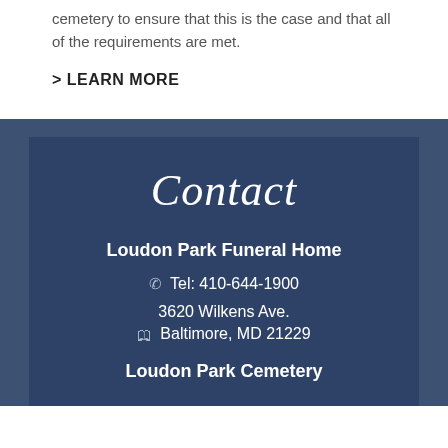cemetery to ensure that this is the case and that all of the requirements are met.
> LEARN MORE
Contact
Loudon Park Funeral Home
Tel: 410-644-1900
3620 Wilkens Ave. Baltimore, MD 21229
Loudon Park Cemetery